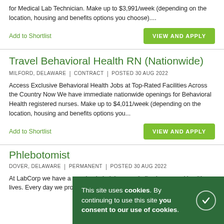for Medical Lab Technician. Make up to $3,991/week (depending on the location, housing and benefits options you choose)....
Add to Shortlist
VIEW AND APPLY
Travel Behavioral Health RN (Nationwide)
MILFORD, DELAWARE | CONTRACT | POSTED 30 AUG 2022
Access Exclusive Behavioral Health Jobs at Top-Rated Facilities Across the Country Now We have immediate nationwide openings for Behavioral Health registered nurses. Make up to $4,011/week (depending on the location, housing and benefits options you...
Add to Shortlist
VIEW AND APPLY
Phlebotomist
DOVER, DELAWARE | PERMANENT | POSTED 30 AUG 2022
At LabCorp we have a passion in helping people live happy and healthy lives. Every day we provide vital information that helps our
This site uses cookies. By continuing to use this site you consent to our use of cookies.